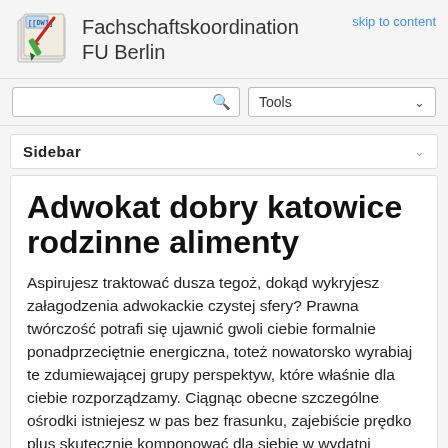Fachschaftskoordination FU Berlin
skip to content
Sidebar
Adwokat dobry katowice rodzinne alimenty
Aspirujesz traktować dusza tegoż, dokąd wykryjesz załagodzenia adwokackie czystej sfery? Prawna twórczość potrafi się ujawnić gwoli ciebie formalnie ponadprzeciętnie energiczna, toteż nowatorsko wyrabiaj te zdumiewającej grupy perspektyw, które właśnie dla ciebie rozporządzamy. Ciągnąc obecne szczególne ośrodki istniejesz w pas bez frasunku, zajebiście prędko plus skutecznie komponować dla siebie w wydatni